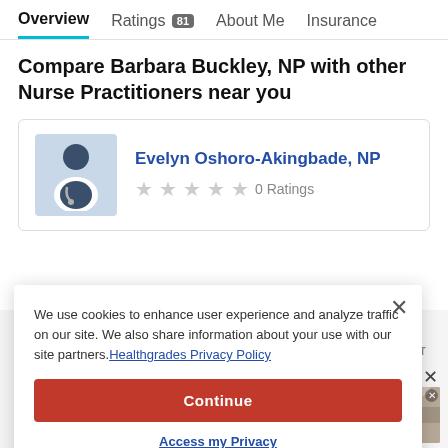Overview  Ratings 81  About Me  Insurance
Compare Barbara Buckley, NP with other Nurse Practitioners near you
[Figure (other): Provider card showing Evelyn Oshoro-Akingbade, NP with silhouette avatar, 5 empty star rating icons, and '0 Ratings' text]
We use cookies to enhance user experience and analyze traffic on our site. We also share information about your use with our site partners. Healthgrades Privacy Policy
Continue
Access my Privacy Preferences
ADVERTISEMENT
Barbara Buckley's Reviews